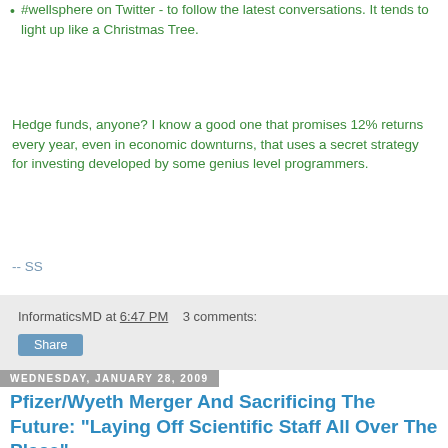#wellsphere on Twitter - to follow the latest conversations. It tends to light up like a Christmas Tree.
Hedge funds, anyone? I know a good one that promises 12% returns every year, even in economic downturns, that uses a secret strategy for investing developed by some genius level programmers.
-- SS
InformaticsMD at 6:47 PM   3 comments:
Share
Wednesday, January 28, 2009
Pfizer/Wyeth Merger And Sacrificing The Future: "Laying Off Scientific Staff All Over The Place"